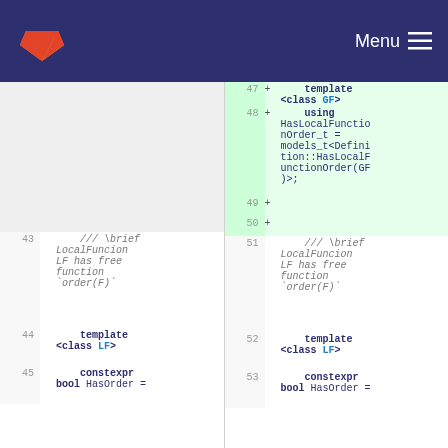Menu
47 + template <class GF>
48 + using HasLocalFunctionOrder_t = models_t<Definition::HasLocalFunctionOrder(GF)>;
49 +
50 +
43   /// \brief LocalFuncion LF has free function `order(F)`
44   template <class LF>
45   constexpr bool HasOrder =
51   /// \brief LocalFuncion LF has free function `order(F)`
52   template <class LF>
53   constexpr bool HasOrder =